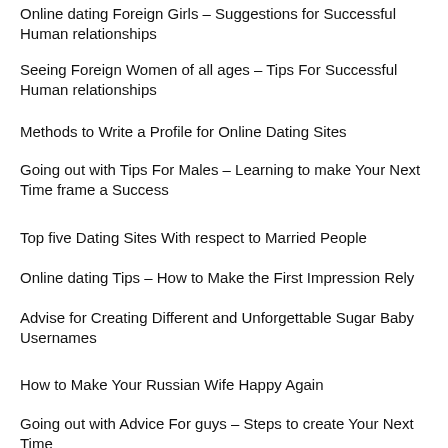Online dating Foreign Girls – Suggestions for Successful Human relationships
Seeing Foreign Women of all ages – Tips For Successful Human relationships
Methods to Write a Profile for Online Dating Sites
Going out with Tips For Males – Learning to make Your Next Time frame a Success
Top five Dating Sites With respect to Married People
Online dating Tips – How to Make the First Impression Rely
Advise for Creating Different and Unforgettable Sugar Baby Usernames
How to Make Your Russian Wife Happy Again
Going out with Advice For guys – Steps to create Your Next Time